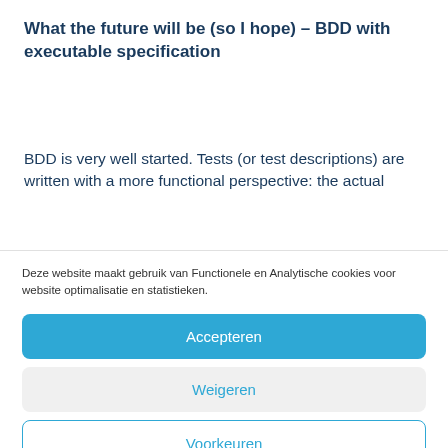What the future will be (so I hope) – BDD with executable specification
BDD is very well started. Tests (or test descriptions) are written with a more functional perspective: the actual
Deze website maakt gebruik van Functionele en Analytische cookies voor website optimalisatie en statistieken.
Accepteren
Weigeren
Voorkeuren
Cookiebeleid  Privacyverklaring